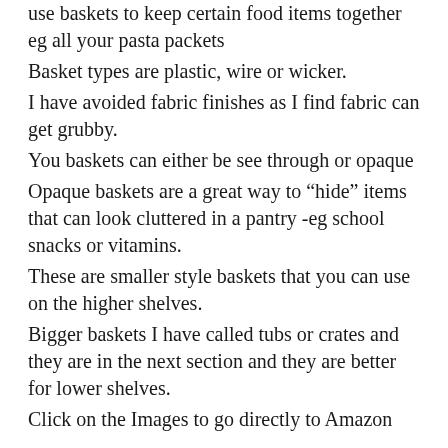use baskets to keep certain food items together eg all your pasta packets Basket types are plastic, wire or wicker. I have avoided fabric finishes as I find fabric can get grubby. You baskets can either be see through or opaque Opaque baskets are a great way to “hide” items that can look cluttered in a pantry -eg school snacks or vitamins. These are smaller style baskets that you can use on the higher shelves. Bigger baskets I have called tubs or crates and they are in the next section and they are better for lower shelves. Click on the Images to go directly to Amazon